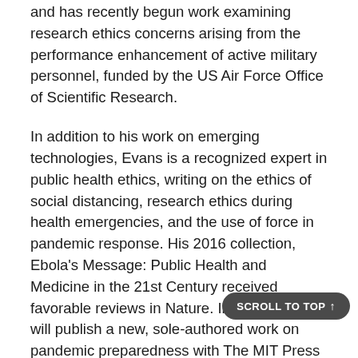and has recently begun work examining research ethics concerns arising from the performance enhancement of active military personnel, funded by the US Air Force Office of Scientific Research.
In addition to his work on emerging technologies, Evans is a recognized expert in public health ethics, writing on the ethics of social distancing, research ethics during health emergencies, and the use of force in pandemic response. His 2016 collection, Ebola's Message: Public Health and Medicine in the 21st Century received favorable reviews in Nature. In late 2021 he will publish a new, sole-authored work on pandemic preparedness with The MIT Press titled, War on All Fronts: A Theory of Just Health Security.
Prior to his appointment at the University of Massachusetts, Evans completed postdoctoral research at the Broadmoor School of Medicine at the...